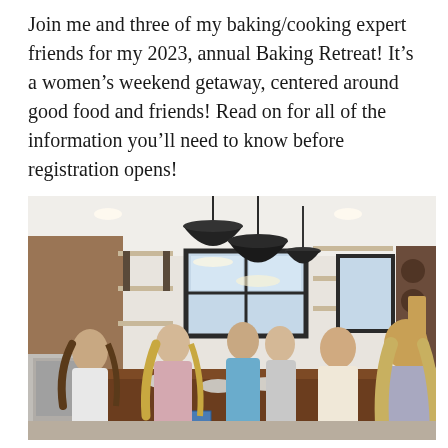Join me and three of my baking/cooking expert friends for my 2023, annual Baking Retreat! It’s a women’s weekend getaway, centered around good food and friends! Read on for all of the information you’ll need to know before registration opens!
[Figure (photo): Group of women gathered around a large wooden kitchen table in a bright farmhouse-style kitchen with black industrial pendant lights hanging from the ceiling, open shelving on the walls, and large windows in the background. The women appear to be cooking or baking together, with bowls and ingredients on the table.]